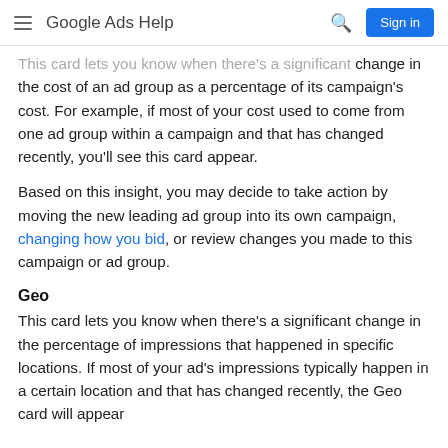Google Ads Help
This card lets you know when there's a significant change in the cost of an ad group as a percentage of its campaign's cost. For example, if most of your cost used to come from one ad group within a campaign and that has changed recently, you'll see this card appear.
Based on this insight, you may decide to take action by moving the new leading ad group into its own campaign, changing how you bid, or review changes you made to this campaign or ad group.
Geo
This card lets you know when there's a significant change in the percentage of impressions that happened in specific locations. If most of your ad's impressions typically happen in a certain location and that has changed recently, the Geo card will appear.